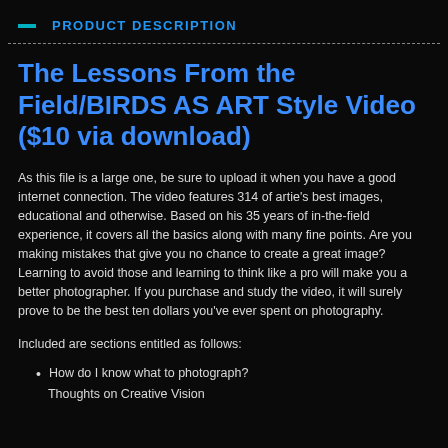PRODUCT DESCRIPTION
The Lessons From the Field/BIRDS AS ART Style Video ($10 via download)
As this file is a large one, be sure to upload it when you have a good internet connection. The video features 314 of artie's best images, educational and otherwise. Based on his 35 years of in-the-field experience, it covers all the basics along with many fine points. Are you making mistakes that give you no chance to create a great image? Learning to avoid those and learning to think like a pro will make you a better photographer. If you purchase and study the video, it will surely prove to be the best ten dollars you've ever spent on photography.
Included are sections entitled as follows:
How do I know what to photograph?
Thoughts on Creative Vision